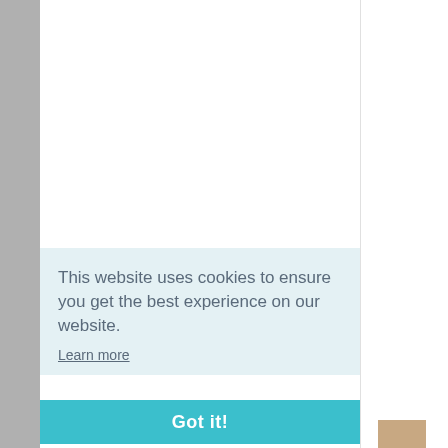[Figure (screenshot): Left gray vertical bar, part of a webpage screenshot]
109
Hel
Re
R
This website uses cookies to ensure you get the best experience on our website.
Learn more
Got it!
R
111